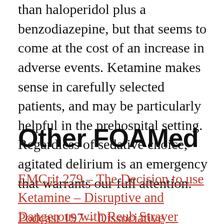than haloperidol plus a benzodiazepine, but that seems to come at the cost of an increase in adverse events. Ketamine makes sense in carefully selected patients, and may be particularly helpful in the prehospital setting. Regardless of sedative choice, agitated delirium is an emergency that warrants our full attention.
Other FOAMed
EMCrit 279 – The Decision to use Ketamine – Disruptive and Dangerous with Reub Strayer
Podcast 197 – Dissociative Doses...